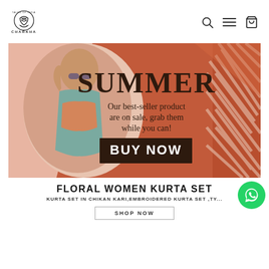[Figure (logo): Charkha Tales of India logo with circular emblem and brand name]
[Figure (infographic): Summer sale banner with woman in sunglasses wearing orange and teal outfit. Text reads: SUMMER, Our best-seller product are on sale, grab them while you can!, BUY NOW button. Terracotta/orange geometric background with diagonal stripe pattern.]
FLORAL WOMEN KURTA SET
KURTA SET IN CHIKAN KARI,EMBROIDERED KURTA SET ,TY...
SHOP NOW